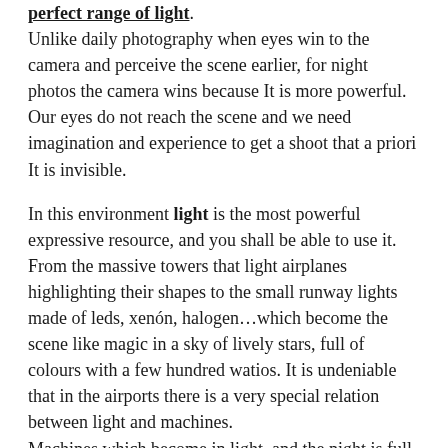perfect range of light. Unlike daily photography when eyes win to the camera and perceive the scene earlier, for night photos the camera wins because It is more powerful. Our eyes do not reach the scene and we need imagination and experience to get a shoot that a priori It is invisible.
In this environment light is the most powerful expressive resource, and you shall be able to use it. From the massive towers that light airplanes highlighting their shapes to the small runway lights made of leds, xenón, halogen…which become the scene like magic in a sky of lively stars, full of colours with a few hundred watios. It is undeniable that in the airports there is a very special relation between light and machines. Machines which become in light, and the night is full of environment light as well, that type of light which only can be showed during long expositions.